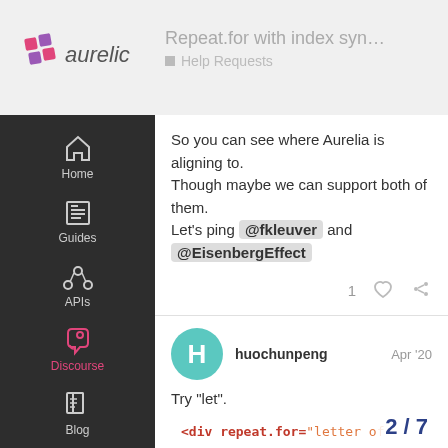Repeat.for with index syn... Help Requests
So you can see where Aurelia is aligning to. Though maybe we can support both of them. Let’s ping @fkleuver and @EisenbergEffect
huochunpeng Apr '20
Try “let”.
<div repeat.for="letter of letters"
     <let outer-index.bind="$index">
     <div repeat.for="letter of lett
          <span>${$index} / ${outerI
     </div>
</div>
2 / 7